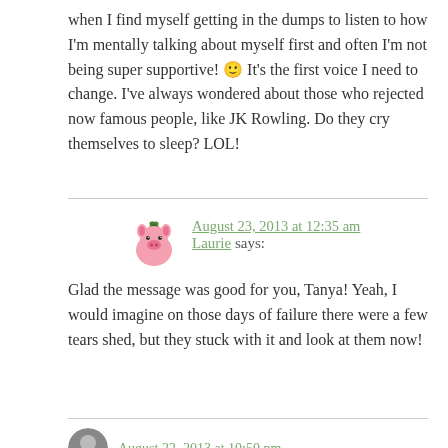when I find myself getting in the dumps to listen to how I'm mentally talking about myself first and often I'm not being super supportive! 🙂 It's the first voice I need to change. I've always wondered about those who rejected now famous people, like JK Rowling. Do they cry themselves to sleep? LOL!
August 23, 2013 at 12:35 am
Laurie says:
[Figure (illustration): Pink pig avatar with green leaf/bow on top]
Glad the message was good for you, Tanya! Yeah, I would imagine on those days of failure there were a few tears shed, but they stuck with it and look at them now!
August 22, 2013 at 10:50 pm